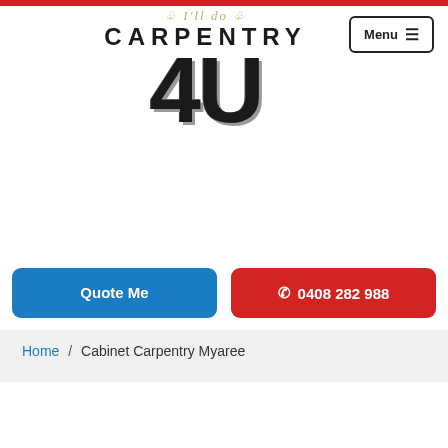[Figure (logo): Logo for 'I'll do Carpentry 4U' — decorative script 'I'll do' in gold italic above bold uppercase 'CARPENTRY' and a large '4U' in distressed serif/slab style]
Menu ☰
Quote Me
☎ 0408 282 988
Home / Cabinet Carpentry Myaree